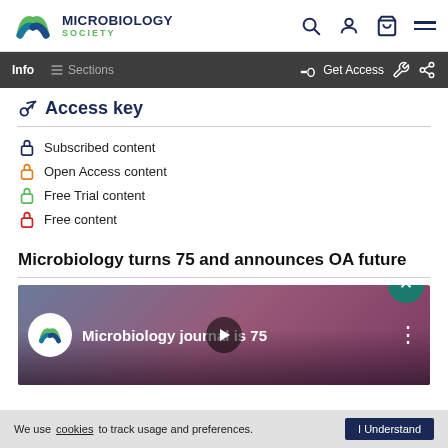Microbiology Society — Navigation bar with logo, search, user, cart, menu icons
Info | Sections | Get Access
Access key
Subscribed content
Open Access content
Free Trial content
Free content
Microbiology turns 75 and announces OA future
[Figure (screenshot): YouTube-style video thumbnail showing Microbiology journal is 75 with two people visible and a play button]
We use cookies to track usage and preferences. I Understand